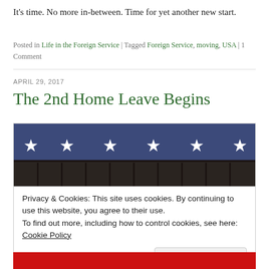It's time. No more in-between. Time for yet another new start.
Posted in Life in the Foreign Service | Tagged Foreign Service, moving, USA | 1 Comment
APRIL 29, 2017
The 2nd Home Leave Begins
[Figure (photo): Close-up photograph of an American flag showing white stars on blue field at top, and the structural underside of a building or bleachers below.]
Privacy & Cookies: This site uses cookies. By continuing to use this website, you agree to their use.
To find out more, including how to control cookies, see here: Cookie Policy
Close and accept
[Figure (photo): Partial view of another image at the bottom of the page, showing a red background.]